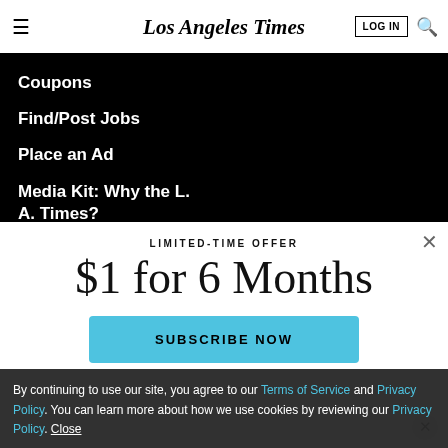Los Angeles Times — LOG IN | Search
Coupons
Find/Post Jobs
Place an Ad
Media Kit: Why the L. A. Times?
Bestcovery
LIMITED-TIME OFFER
$1 for 6 Months
SUBSCRIBE NOW
By continuing to use our site, you agree to our Terms of Service and Privacy Policy. You can learn more about how we use cookies by reviewing our Privacy Policy. Close